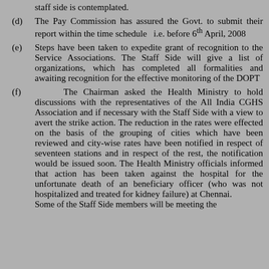staff side is contemplated.
(d) The Pay Commission has assured the Govt. to submit their report within the time schedule i.e. before 6th April, 2008
(e) Steps have been taken to expedite grant of recognition to the Service Associations. The Staff Side will give a list of organizations, which has completed all formalities and awaiting recognition for the effective monitoring of the DOPT
(f) The Chairman asked the Health Ministry to hold discussions with the representatives of the All India CGHS Association and if necessary with the Staff Side with a view to avert the strike action. The reduction in the rates were effected on the basis of the grouping of cities which have been reviewed and city-wise rates have been notified in respect of seventeen stations and in respect of the rest, the notification would be issued soon. The Health Ministry officials informed that action has been taken against the hospital for the unfortunate death of an beneficiary officer (who was not hospitalized and treated for kidney failure) at Chennai. Some of the Staff Side members will be meeting the